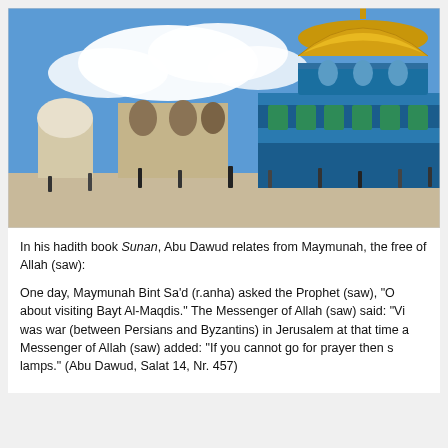[Figure (photo): Photograph of the Dome of the Rock in Jerusalem, showing the golden dome and ornate blue-tiled octagonal structure on the right, with stone archways and smaller domed structures on the left, people walking in the foreground, and a blue sky with white clouds above.]
In his hadith book Sunan, Abu Dawud relates from Maymunah, the free of Allah (saw):
One day, Maymunah Bint Sa'd (r.anha) asked the Prophet (saw), "O about visiting Bayt Al-Maqdis." The Messenger of Allah (saw) said: "Vi was war (between Persians and Byzantins) in Jerusalem at that time a Messenger of Allah (saw) added: "If you cannot go for prayer then s lamps." (Abu Dawud, Salat 14, Nr. 457)